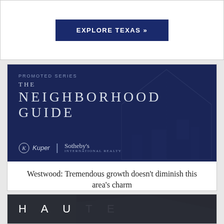EXPLORE TEXAS »
[Figure (illustration): The Neighborhood Guide banner with dark navy background, geometric house silhouette, 'PROMOTED SERIES' label, Kuper Sotheby's International Realty logo]
Westwood: Tremendous growth doesn't diminish this area's charm
Point Venture: A Lake Travis oasis where every day feels like vacation
Tarrytown: A native shares her favorites in this idyllic neighborhood
[Figure (illustration): Partially visible dark banner with 'HAUTE' text in large spaced letters]